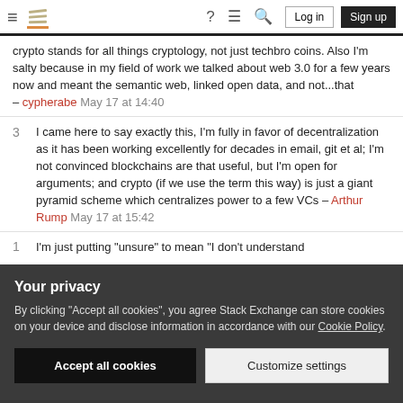Stack Exchange navigation bar with hamburger menu, logo, help, chat, search icons, Log in and Sign up buttons
crypto stands for all things cryptology, not just techbro coins. Also I'm salty because in my field of work we talked about web 3.0 for a few years now and meant the semantic web, linked open data, and not...that – cypherabe May 17 at 14:40
3  I came here to say exactly this, I'm fully in favor of decentralization as it has been working excellently for decades in email, git et al; I'm not convinced blockchains are that useful, but I'm open for arguments; and crypto (if we use the term this way) is just a giant pyramid scheme which centralizes power to a few VCs – Arthur Rump May 17 at 15:42
1  I'm just putting "unsure" to mean "I don't understand
Your privacy
By clicking "Accept all cookies", you agree Stack Exchange can store cookies on your device and disclose information in accordance with our Cookie Policy.
Accept all cookies   Customize settings
We understand that this question could've been split into 3 separate questions. We've looked at the